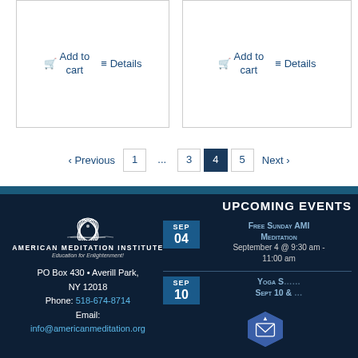Add to cart | Details (left card)
Add to cart | Details (right card)
< Previous  1  ...  3  4  5  Next >
[Figure (logo): American Meditation Institute lotus flower logo with text 'American Meditation Institute - Education for Enlightenment']
PO Box 430 • Averill Park, NY 12018
Phone: 518-674-8714
Email:
info@americanmeditation.org
UPCOMING EVENTS
SEP 04 – Free Sunday AMI Meditation – September 4 @ 9:30 am - 11:00 am
SEP 10 – Yoga S... Sept 10 & ...